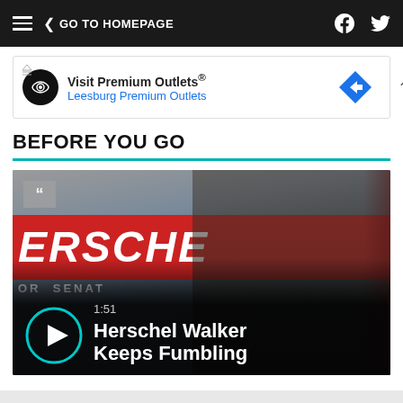GO TO HOMEPAGE
[Figure (other): Advertisement banner for Visit Premium Outlets / Leesburg Premium Outlets]
BEFORE YOU GO
[Figure (screenshot): Video thumbnail showing Herschel Walker at a campaign event with red HERSCHEL campaign banner. Play button overlay with timestamp 1:51 and title 'Herschel Walker Keeps Fumbling']